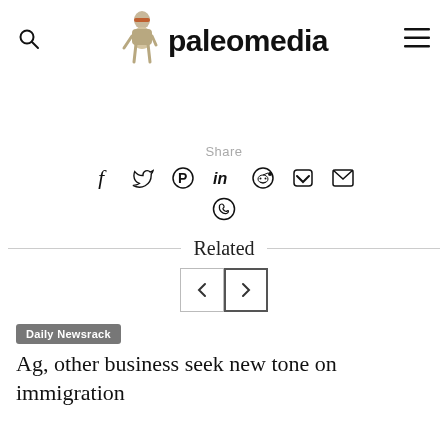paleomedia
Share
[Figure (infographic): Social sharing icons: Facebook, Twitter, Pinterest, LinkedIn, Reddit, Pocket, Email, WhatsApp]
Related
Daily Newsrack
Ag, other business seek new tone on immigration